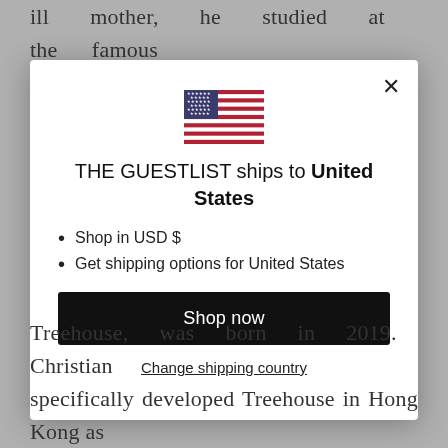ill mother, he studied at the famous Institute Paul Bocuse, with a double major in
[Figure (screenshot): Modal dialog showing US flag and shipping destination selector for THE GUESTLIST. Contains flag SVG, title text, bullet list, Shop now button, and Change shipping country link.]
Treehouse, was born in 2019. Christian specifically developed Treehouse in Hong Kong as